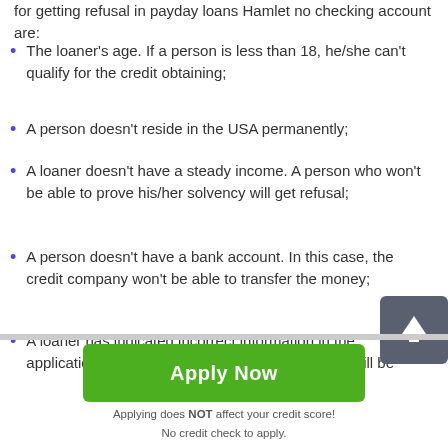for getting refusal in payday loans Hamlet no checking account are:
The loaner's age. If a person is less than 18, he/she can't qualify for the credit obtaining;
A person doesn't reside in the USA permanently;
A loaner doesn't have a steady income. A person who won't be able to prove his/her solvency will get refusal;
A person doesn't have a bank account. In this case, the credit company won't be able to transfer the money;
A loaner has indicated incorrect information in the application. All the data from the loan application will be
[Figure (other): Dark gray rounded square button with upward arrow icon (scroll-to-top button)]
Apply Now
Applying does NOT affect your credit score!
No credit check to apply.